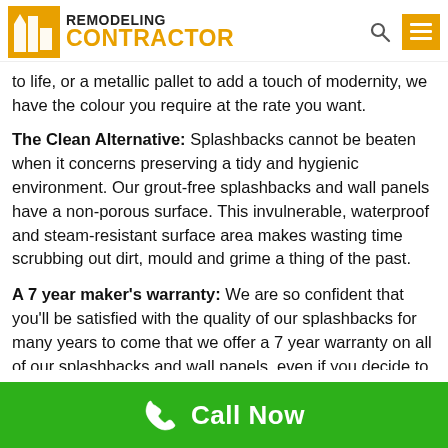Remodeling Contractor
to life, or a metallic pallet to add a touch of modernity, we have the colour you require at the rate you want.
The Clean Alternative: Splashbacks cannot be beaten when it concerns preserving a tidy and hygienic environment. Our grout-free splashbacks and wall panels have a non-porous surface. This invulnerable, waterproof and steam-resistant surface area makes wasting time scrubbing out dirt, mould and grime a thing of the past.
A 7 year maker’s warranty: We are so confident that you’ll be satisfied with the quality of our splashbacks for many years to come that we offer a 7 year warranty on all of our splashbacks and wall panels, even if you decide to install them yourself.
Call Now